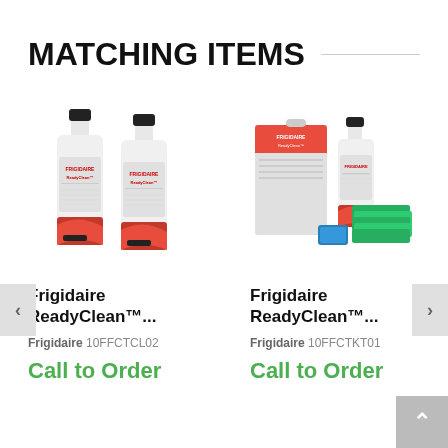MATCHING ITEMS
[Figure (photo): Two white Frigidaire ReadyClean cleaner bottles with red and black labels]
Frigidaire ReadyClean™...
Frigidaire 10FFCTCL02
Call to Order
[Figure (photo): Frigidaire ReadyClean kit with box, bottle, blue scrubber, and green cloths]
Frigidaire ReadyClean™...
Frigidaire 10FFCTKT01
Call to Order